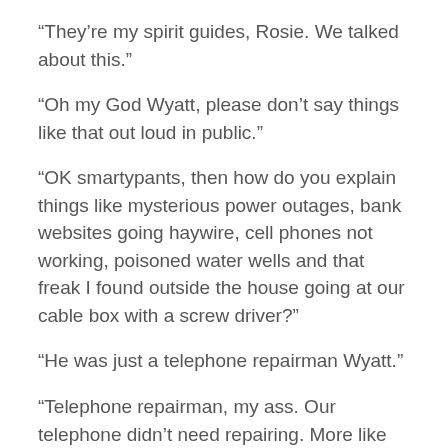“They’re my spirit guides, Rosie. We talked about this.”
“Oh my God Wyatt, please don’t say things like that out loud in public.”
“OK smartypants, then how do you explain things like mysterious power outages, bank websites going haywire, cell phones not working, poisoned water wells and that freak I found outside the house going at our cable box with a screw driver?”
“He was just a telephone repairman Wyatt.”
“Telephone repairman, my ass. Our telephone didn’t need repairing. More like Men in Black, if you ask me!”
“Well, I didn’t ask you Wyatt. You’re just really